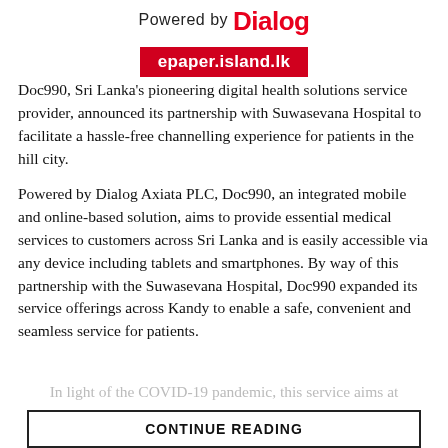[Figure (logo): Powered by Dialog logo header with Dialog brand name in red]
[Figure (other): Red banner watermark showing epaper.island.lk]
Doc990, Sri Lanka's pioneering digital health solutions service provider, announced its partnership with Suwasevana Hospital to facilitate a hassle-free channelling experience for patients in the hill city.
Powered by Dialog Axiata PLC, Doc990, an integrated mobile and online-based solution, aims to provide essential medical services to customers across Sri Lanka and is easily accessible via any device including tablets and smartphones. By way of this partnership with the Suwasevana Hospital, Doc990 expanded its service offerings across Kandy to enable a safe, convenient and seamless service for patients.
In light of the COVID-19 pandemic, this service aims at
CONTINUE READING